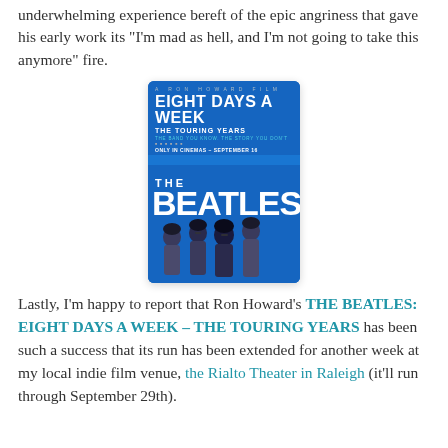underwhelming experience bereft of the epic angriness that gave his early work its “I’m mad as hell, and I’m not going to take this anymore” fire.
[Figure (photo): Movie poster for 'Eight Days a Week: The Touring Years' directed by Ron Howard. Blue background with The Beatles band members on the lower half, white text reading 'EIGHT DAYS A WEEK THE TOURING YEARS', tagline 'THE BAND YOU KNOW. THE STORY YOU DON’T', and 'ONLY IN CINEMAS – SEPTEMBER 16'.]
Lastly, I’m happy to report that Ron Howard’s THE BEATLES: EIGHT DAYS A WEEK – THE TOURING YEARS has been such a success that its run has been extended for another week at my local indie film venue, the Rialto Theater in Raleigh (it’ll run through September 29th).